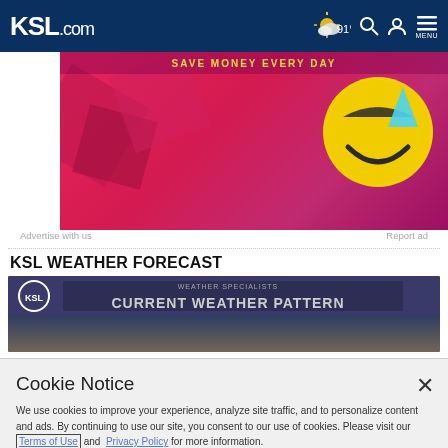KSL.com — 91° MENU
[Figure (photo): Advertisement banner with colorful emoji/geometric background — smiley emoji face on pink/red background]
Advertise with us    Report ad
KSL WEATHER FORECAST
[Figure (screenshot): KSL Weather Specialists video thumbnail showing 'CURRENT WEATHER PATTERN' with map]
Cookie Notice

We use cookies to improve your experience, analyze site traffic, and to personalize content and ads. By continuing to use our site, you consent to our use of cookies. Please visit our Terms of Use and Privacy Policy for more information.

Continue